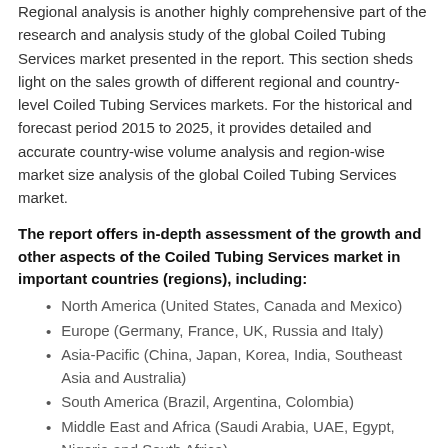Regional analysis is another highly comprehensive part of the research and analysis study of the global Coiled Tubing Services market presented in the report. This section sheds light on the sales growth of different regional and country-level Coiled Tubing Services markets. For the historical and forecast period 2015 to 2025, it provides detailed and accurate country-wise volume analysis and region-wise market size analysis of the global Coiled Tubing Services market.
The report offers in-depth assessment of the growth and other aspects of the Coiled Tubing Services market in important countries (regions), including:
North America (United States, Canada and Mexico)
Europe (Germany, France, UK, Russia and Italy)
Asia-Pacific (China, Japan, Korea, India, Southeast Asia and Australia)
South America (Brazil, Argentina, Colombia)
Middle East and Africa (Saudi Arabia, UAE, Egypt, Nigeria and South Africa)
Competitive Landscape and Coiled Tubing Services Market Share Analysis
Coiled Tubing Services competitive landscape provides details by vendors, including company overview, company total revenue